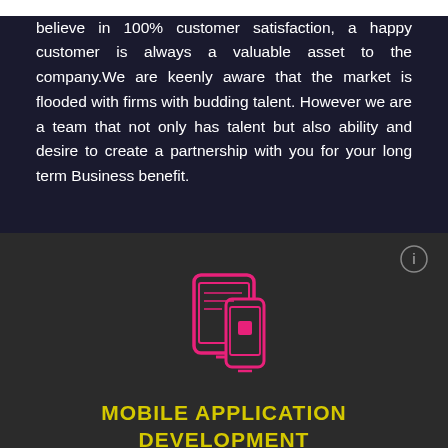believe in 100% customer satisfaction, a happy customer is always a valuable asset to the company.We are keenly aware that the market is flooded with firms with budding talent. However we are a team that not only has talent but also ability and desire to create a partnership with you for your long term Business benefit.
[Figure (illustration): Pink outline icon of a smartphone and tablet with a play/app button on the tablet screen]
MOBILE APPLICATION DEVELOPMENT
We understand a project's scope and requirements